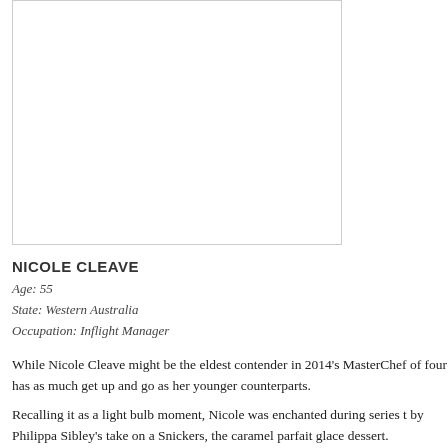[Figure (photo): Portrait photo placeholder — white rectangle with light gray border]
NICOLE CLEAVE
Age: 55
State: Western Australia
Occupation: Inflight Manager
While Nicole Cleave might be the eldest contender in 2014's MasterChef of four has as much get up and go as her younger counterparts.
Recalling it as a light bulb moment, Nicole was enchanted during series t by Philippa Sibley's take on a Snickers, the caramel parfait glace dessert.